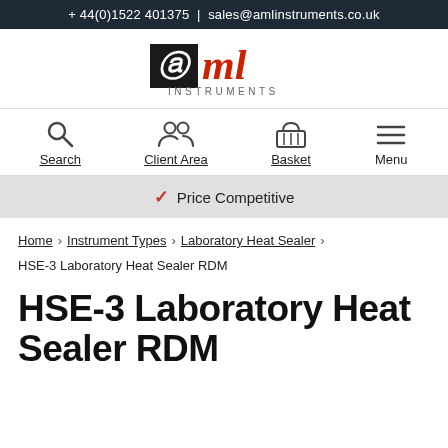+ 44(0)1522 401375 | sales@amlinstruments.co.uk
[Figure (logo): AML Instruments logo — black square with stylized 'a' letter, 'ml' in red serif, and 'INSTRUMENTS' text below in grey]
[Figure (infographic): Navigation bar with four icons: Search (magnifying glass), Client Area (two people), Basket (shopping basket), Menu (hamburger lines)]
✓ Price Competitive
Home > Instrument Types > Laboratory Heat Sealer > HSE-3 Laboratory Heat Sealer RDM
HSE-3 Laboratory Heat Sealer RDM